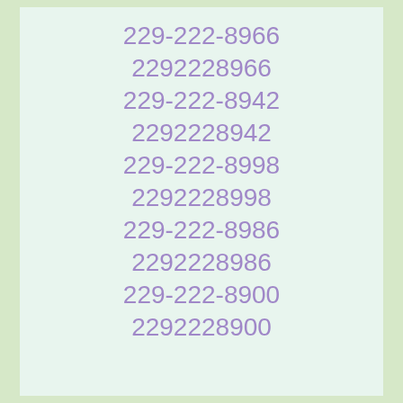229-222-8966
2292228966
229-222-8942
2292228942
229-222-8998
2292228998
229-222-8986
2292228986
229-222-8900
2292228900